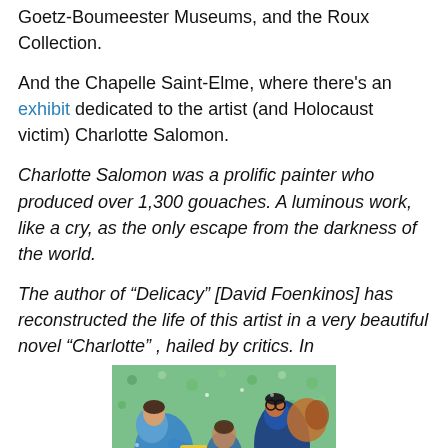Goetz-Boumeester Museums, and the Roux Collection.
And the Chapelle Saint-Elme, where there's an exhibit dedicated to the artist (and Holocaust victim) Charlotte Salomon.
Charlotte Salomon was a prolific painter who produced over 1,300 gouaches. A luminous work, like a cry, as the only escape from the darkness of the world.
The author of “Delicacy” [David Foenkinos] has reconstructed the life of this artist in a very beautiful novel “Charlotte” , hailed by critics. In
[Figure (photo): A colorful painting showing multiple figures in blue, green and warm tones, rendered in an expressive style reminiscent of Charlotte Salomon's gouache work.]